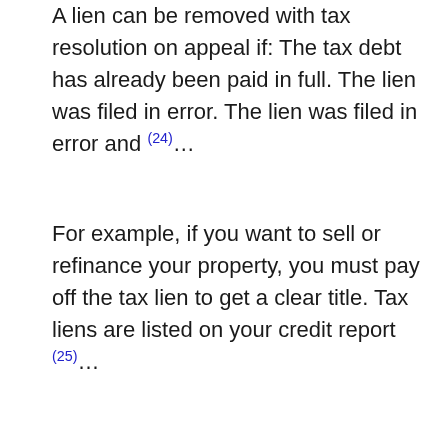A lien can be removed with tax resolution on appeal if: The tax debt has already been paid in full. The lien was filed in error. The lien was filed in error and (24)…
For example, if you want to sell or refinance your property, you must pay off the tax lien to get a clear title. Tax liens are listed on your credit report (25)…